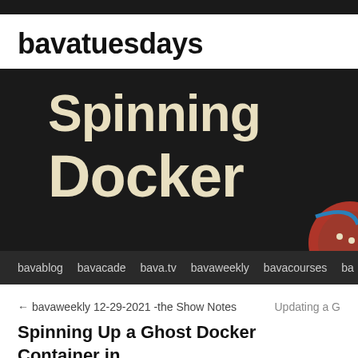bavatuesdays
[Figure (screenshot): Blog header image with dark background showing text 'Spinning Docker' in large cream/beige bold font, with a partial circular illustration in the bottom right corner]
bavablog  bavacade  bava.tv  bavaweekly  bavacourses  ba
← bavaweekly 12-29-2021 -the Show Notes    Updating a G
Spinning Up a Ghost Docker Container in